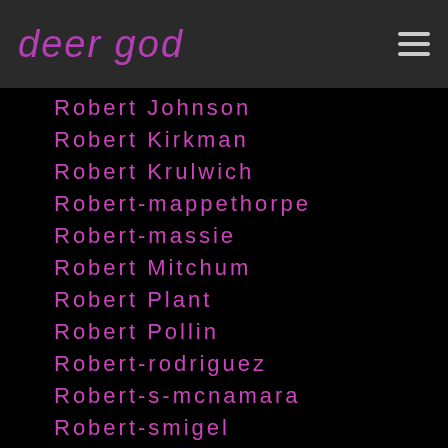deer god
Robert Johnson
Robert Kirkman
Robert Krulwich
Robert-mappethorpe
Robert-massie
Robert Mitchum
Robert Plant
Robert Pollin
Robert-rodriguez
Robert-s-mcnamara
Robert-smigel
Robert Smith
Rob Halford
Robin Thicke
Rob Liefeld
Robot-restaurant
Rob-reiner